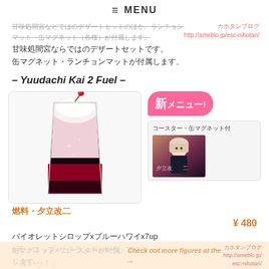≡ MENU
甘味処間宮ならではのデザートセットです。
缶マグネット・ランチョンマットが付属します。
– Yuudachi Kai 2 Fuel –
[Figure (photo): A tall glass drink with layered colors: dark red/black at the bottom, pink/white cream in the middle and top, garnished with a cherry and whipped cream.]
[Figure (illustration): Pink speech bubble badge saying 新メニュー!]
[Figure (photo): Anime character card/coaster image with label コースター・缶マグネット付]
燃料・夕立改二
¥ 480
バイオレットシロップxブルーハワイx7up
x苺シロップxサクランボxホイップクリーム
「ぽいっ！」
缶マグネット・コースターが付属します。